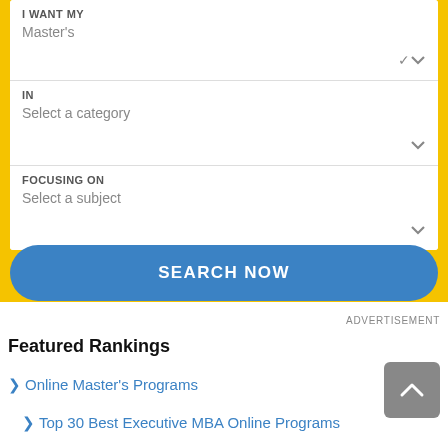I WANT MY
Master's
IN
Select a category
FOCUSING ON
Select a subject
SEARCH NOW
ADVERTISEMENT
Featured Rankings
> Online Master's Programs
> Top 30 Best Executive MBA Online Programs